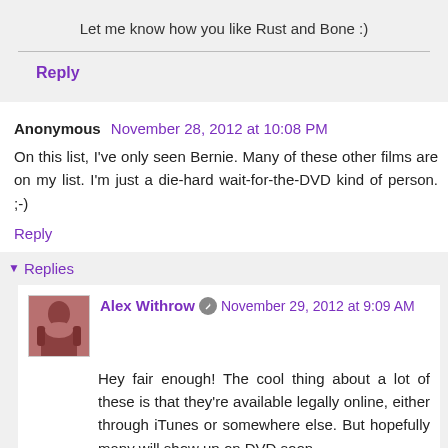Let me know how you like Rust and Bone :)
Reply
Anonymous  November 28, 2012 at 10:08 PM
On this list, I've only seen Bernie. Many of these other films are on my list. I'm just a die-hard wait-for-the-DVD kind of person. ;-)
Reply
Replies
Alex Withrow  November 29, 2012 at 9:09 AM
Hey fair enough! The cool thing about a lot of these is that they're available legally online, either through iTunes or somewhere else. But hopefully many will show up on DVD soon.